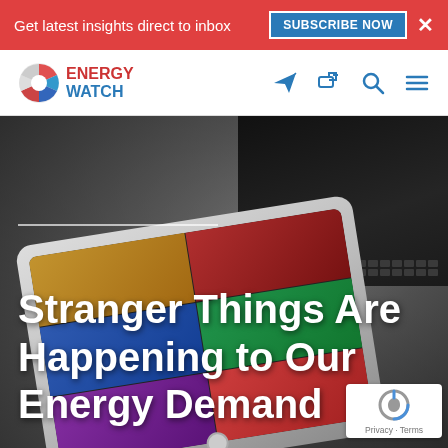Get latest insights direct to inbox  SUBSCRIBE NOW  ×
[Figure (logo): Energy Watch logo with colorful pie-chart-like icon and text 'ENERGY WATCH']
Stranger Things Are Happening to Our Energy Demand
[Figure (photo): Hero background photo of a tablet device showing a grid of colorful app/content tiles, with a laptop keyboard visible in the background, dark moody tone]